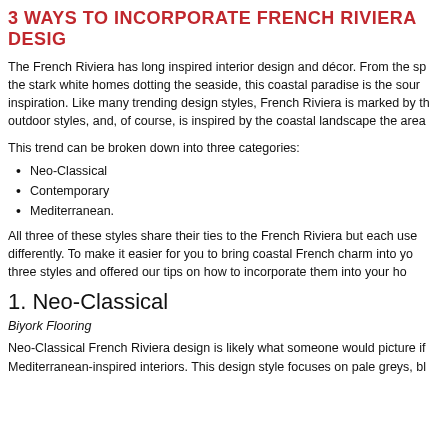3 WAYS TO INCORPORATE FRENCH RIVIERA DESIGN
The French Riviera has long inspired interior design and décor. From the sparkling blue sea to the stark white homes dotting the seaside, this coastal paradise is the source of much creative inspiration. Like many trending design styles, French Riviera is marked by the blend of indoor and outdoor styles, and, of course, is inspired by the coastal landscape the area is known for.
This trend can be broken down into three categories:
Neo-Classical
Contemporary
Mediterranean.
All three of these styles share their ties to the French Riviera but each uses the inspiration differently. To make it easier for you to bring coastal French charm into your home, we've explored these three styles and offered our tips on how to incorporate them into your home.
1. Neo-Classical
Biyork Flooring
Neo-Classical French Riviera design is likely what someone would picture if they imagined Mediterranean-inspired interiors. This design style focuses on pale greys, bl...